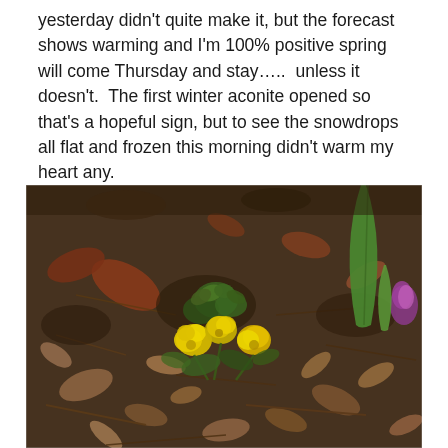yesterday didn't quite make it, but the forecast shows warming and I'm 100% positive spring will come Thursday and stay…..  unless it doesn't.  The first winter aconite opened so that's a hopeful sign, but to see the snowdrops all flat and frozen this morning didn't warm my heart any.
[Figure (photo): Close-up photograph of winter aconite flowers (small yellow blooms) growing among dead leaves and twigs on the ground. A green leaf and a purple crocus bud are visible at the right edge.]